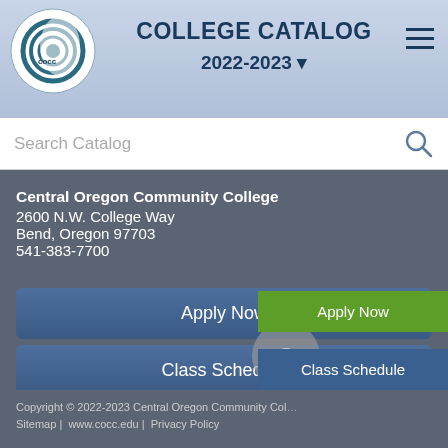COLLEGE CATALOG 2022-2023
Search Catalog
Central Oregon Community College
2600 N.W. College Way
Bend, Oregon 97703
541-383-7700
Apply Now
Class Schedule
Learn More
Copyright © 2022-2023 Central Oregon Community College
Sitemap |  www.cocc.edu |  Privacy Policy
Apply Now
Class Schedule